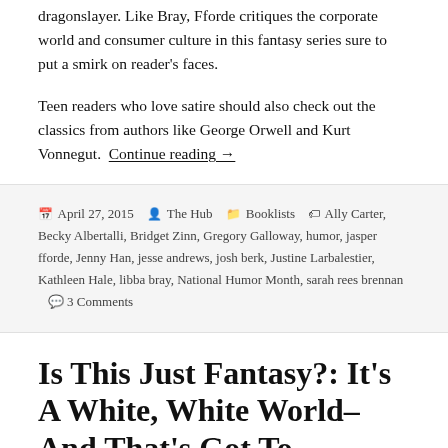dragonslayer. Like Bray, Fforde critiques the corporate world and consumer culture in this fantasy series sure to put a smirk on reader's faces.
Teen readers who love satire should also check out the classics from authors like George Orwell and Kurt Vonnegut.  Continue reading →
April 27, 2015   The Hub   Booklists   Ally Carter, Becky Albertalli, Bridget Zinn, Gregory Galloway, humor, jasper fforde, Jenny Han, jesse andrews, josh berk, Justine Larbalestier, Kathleen Hale, libba bray, National Humor Month, sarah rees brennan   3 Comments
Is This Just Fantasy?: It's A White, White World–And That's Got To Change.